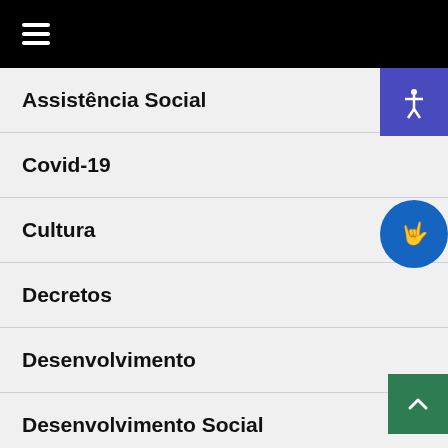Navigation menu header bar
Assistência Social
Covid-19
Cultura
Decretos
Desenvolvimento
Desenvolvimento Social
Diário Oficial
Economia